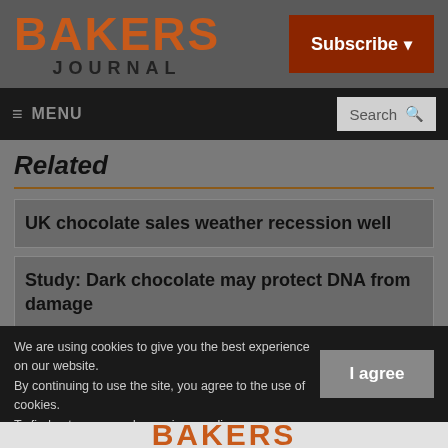BAKERS JOURNAL
Subscribe
≡ MENU
Search
Related
UK chocolate sales weather recession well
Study: Dark chocolate may protect DNA from damage
We are using cookies to give you the best experience on our website. By continuing to use the site, you agree to the use of cookies. To find out more, read our privacy policy.
I agree
BAKERS